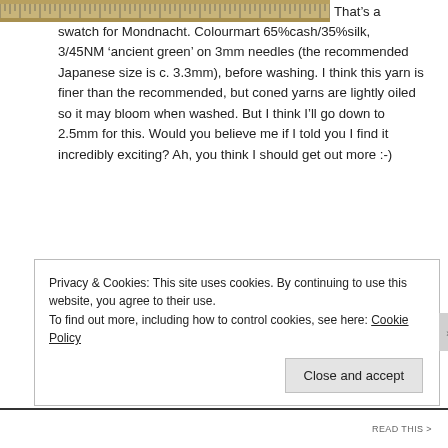[Figure (photo): A ruler/measuring tape showing millimeter and centimeter markings, cropped at top-left of page]
That's a swatch for Mondnacht. Colourmart 65%cash/35%silk, 3/45NM 'ancient green' on 3mm needles (the recommended Japanese size is c. 3.3mm), before washing. I think this yarn is finer than the recommended, but coned yarns are lightly oiled so it may bloom when washed. But I think I'll go down to 2.5mm for this. Would you believe me if I told you I find it incredibly exciting? Ah, you think I should get out more :-)
Privacy & Cookies: This site uses cookies. By continuing to use this website, you agree to their use.
To find out more, including how to control cookies, see here: Cookie Policy